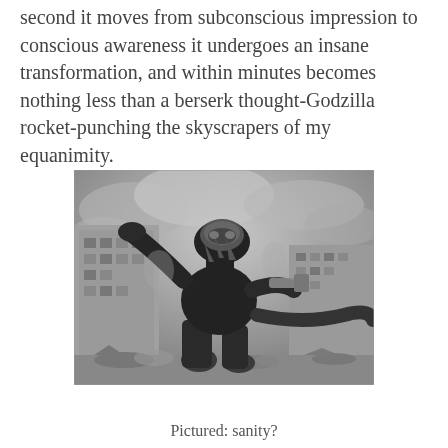second it moves from subconscious impression to conscious awareness it undergoes an insane transformation, and within minutes becomes nothing less than a berserk thought-Godzilla rocket-punching the skyscrapers of my equanimity.
[Figure (photo): Black and white photograph or illustration of Godzilla wearing a helmet/mask, stomping through a city with buildings on either side and smoke/clouds in the background.]
Pictured: sanity?